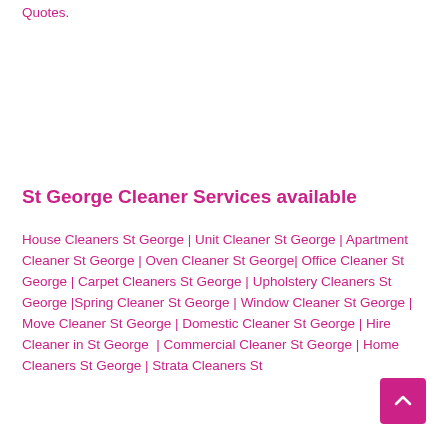Quotes.
St George Cleaner Services available
House Cleaners St George | Unit Cleaner St George | Apartment Cleaner St George | Oven Cleaner St George| Office Cleaner St George | Carpet Cleaners St George | Upholstery Cleaners St George |Spring Cleaner St George | Window Cleaner St George | Move Cleaner St George | Domestic Cleaner St George | Hire Cleaner in St George | Commercial Cleaner St George | Home Cleaners St George | Strata Cleaners St